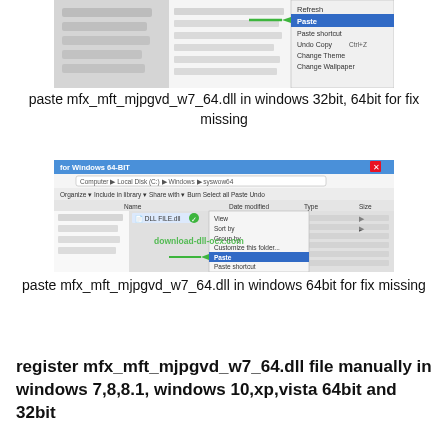[Figure (screenshot): Windows Explorer context menu screenshot showing Paste option highlighted with a green arrow, for 32bit/64bit system folder]
paste mfx_mft_mjpgvd_w7_64.dll in windows 32bit, 64bit for fix missing
[Figure (screenshot): Windows Explorer context menu screenshot for Windows 64-bit (syswow64 folder) showing Paste option highlighted with a green arrow, with download-dll-ocx.com watermark]
paste mfx_mft_mjpgvd_w7_64.dll in windows 64bit for fix missing
register mfx_mft_mjpgvd_w7_64.dll file manually in windows 7,8,8.1, windows 10,xp,vista 64bit and 32bit